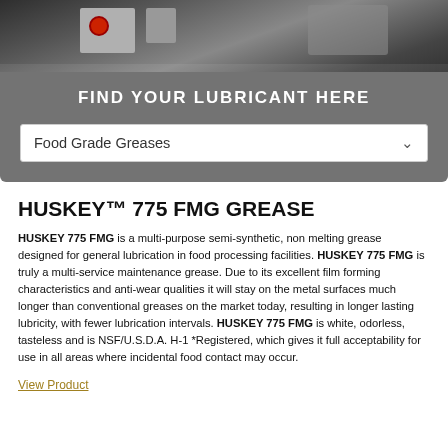[Figure (photo): Industrial machinery photo strip showing equipment with red button control panel]
FIND YOUR LUBRICANT HERE
Food Grade Greases
HUSKEY™ 775 FMG GREASE
HUSKEY 775 FMG is a multi-purpose semi-synthetic, non melting grease designed for general lubrication in food processing facilities. HUSKEY 775 FMG is truly a multi-service maintenance grease. Due to its excellent film forming characteristics and anti-wear qualities it will stay on the metal surfaces much longer than conventional greases on the market today, resulting in longer lasting lubricity, with fewer lubrication intervals. HUSKEY 775 FMG is white, odorless, tasteless and is NSF/U.S.D.A. H-1 *Registered, which gives it full acceptability for use in all areas where incidental food contact may occur.
View Product